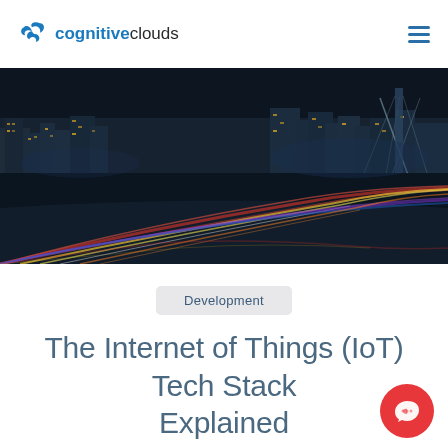cognitiveclouds
[Figure (photo): Night cityscape with long-exposure light trails from traffic on a highway, illuminated skyscrapers and a cable-stayed bridge in the background.]
Development
The Internet of Things (IoT) Tech Stack Explained